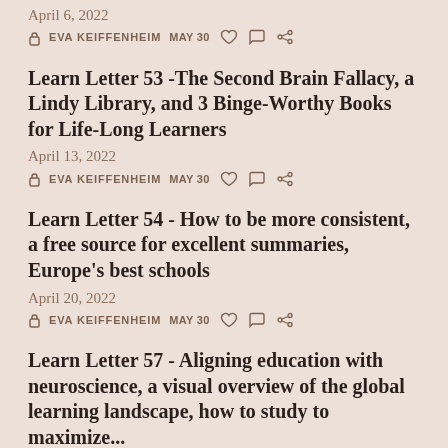April 6, 2022
EVA KEIFFENHEIM  MAY 30
Learn Letter 53 -The Second Brain Fallacy, a Lindy Library, and 3 Binge-Worthy Books for Life-Long Learners
April 13, 2022
EVA KEIFFENHEIM  MAY 30
Learn Letter 54 - How to be more consistent, a free source for excellent summaries, Europe's best schools
April 20, 2022
EVA KEIFFENHEIM  MAY 30
Learn Letter 57 - Aligning education with neuroscience, a visual overview of the global learning landscape, how to study to maximize...